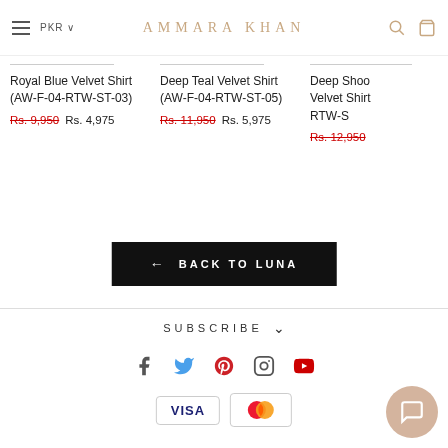AMMARA KHAN
Royal Blue Velvet Shirt (AW-F-04-RTW-ST-03) Rs. 9,950 Rs. 4,975
Deep Teal Velvet Shirt (AW-F-04-RTW-ST-05) Rs. 11,950 Rs. 5,975
Deep Shoo... Velvet Shirt RTW-S... Rs. 12,950
← BACK TO LUNA
SUBSCRIBE
[Figure (other): Social media icons: Facebook, Twitter, Pinterest, Instagram, YouTube]
[Figure (other): Payment method icons: VISA and Mastercard]